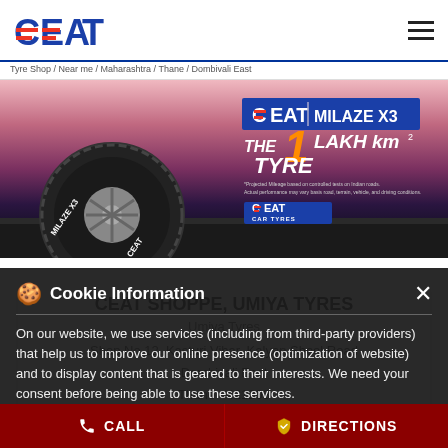[Figure (logo): CEAT logo in blue with red horizontal bars through letters]
Tyre Shop / Near me / Maharashtra / Thane / Dombivali East
[Figure (photo): CEAT Milaze X3 tyre advertisement banner. Shows a car tyre on road background with text: CEAT MILAZE X3 - THE 1 LAKH km2 TYRE. CEAT CAR TYRES badge visible.]
CEAT SHOPPE, UMIYA TYRES
Umiya Tyres
Shop No 12, Kasturi Vihar, Kalyan Sheel Road
Dombivali East
Thane - 421203
Cookie Information
On our website, we use services (including from third-party providers) that help us to improve our online presence (optimization of website) and to display content that is geared to their interests. We need your consent before being able to use these services.
I ACCEPT
CALL    DIRECTIONS